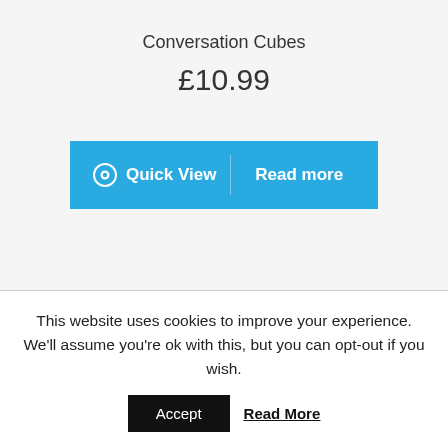Conversation Cubes
£10.99
[Figure (screenshot): A teal/blue button bar with two actions: an eye icon followed by 'Quick View' on the left, and 'Read more' on the right, separated by a faint vertical divider.]
This website uses cookies to improve your experience. We'll assume you're ok with this, but you can opt-out if you wish.
Accept   Read More